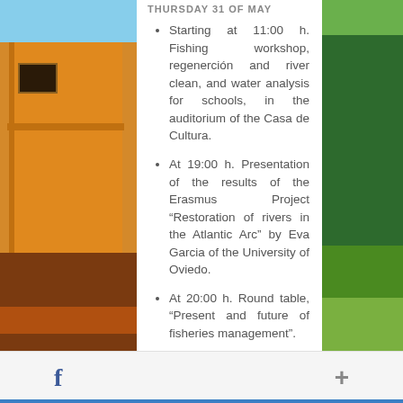THURSDAY 31 OF MAY
Starting at 11:00 h. Fishing workshop, regenerción and river clean, and water analysis for schools, in the auditorium of the Casa de Cultura.
At 19:00 h. Presentation of the results of the Erasmus Project "Restoration of rivers in the Atlantic Arc" by Eva Garcia of the University of Oviedo.
At 20:00 h. Round table, "Present and future of fisheries management".
[Figure (photo): Left: photo of an orange/yellow building with balcony and stairs against blue sky. Right: photo of green trees.]